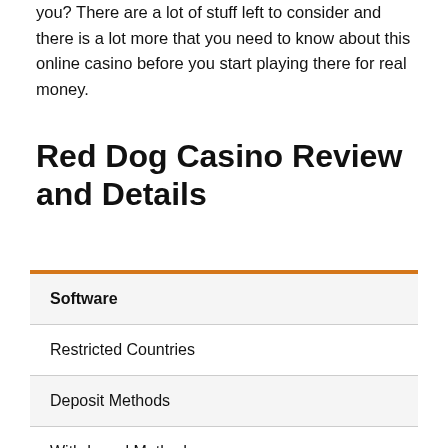you? There are a lot of stuff left to consider and there is a lot more that you need to know about this online casino before you start playing there for real money.
Red Dog Casino Review and Details
| Software |
| Restricted Countries |
| Deposit Methods |
| Withdrawal Methods |
| Real-Time Gaming Software (popularly known as RTG) |